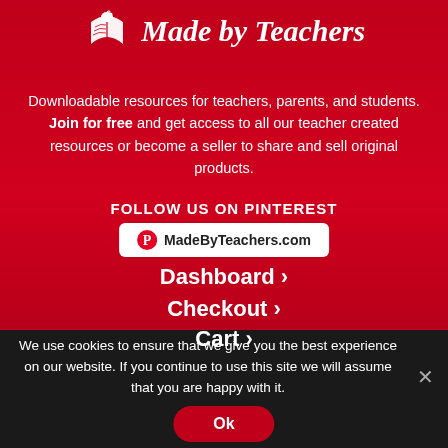[Figure (logo): Made by Teachers logo with open book and apple icon in white, on red background]
Downloadable resources for teachers, parents, and students. Join for free and get access to all our teacher created resources or become a seller to share and sell original products.
FOLLOW US ON PINTEREST
MadeByTeachers.com
Dashboard ›
Checkout ›
Cart ›
We use cookies to ensure that we give you the best experience on our website. If you continue to use this site we will assume that you are happy with it.
Ok